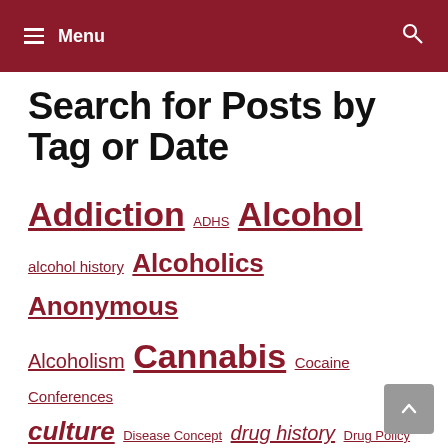Menu
Search for Posts by Tag or Date
Addiction  ADHS  Alcohol  alcohol history  Alcoholics Anonymous  Alcoholism  Cannabis  Cocaine  Conferences  culture  Disease Concept  drug history  Drug Policy  Drugs  drug war  gender  History  Interview  Latin America  law  Literature  Marijuana  marijuana history  marijuana legalization  medicine  Opiates  opioids  Policy